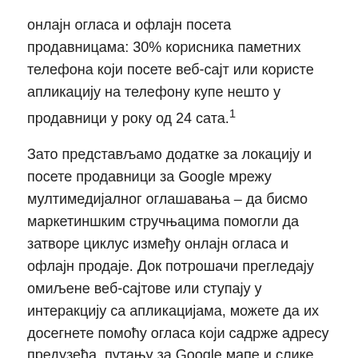онлајн огласа и офлајн посета продавницама: 30% корисника паметних телефона који посете веб-сајт или користе апликацију на телефону купе нешто у продавници у року од 24 сата.¹
Зато представљамо додатке за локацију и посете продавници за Google мрежу мултимедијалног оглашавања – да бисмо маркетиншким стручњацима помогли да затворе циклус између онлајн огласа и офлајн продаје. Док потрошачи прегледају омиљене веб-сајтове или ступају у интеракцију са апликацијама, можете да их досегнете помоћу огласа који садрже адресу предузећа, путању за Google мапе и слике. Огласи имају снажан утицај и представљају брз начин да повећајте број посетилаца физичке продавнице.